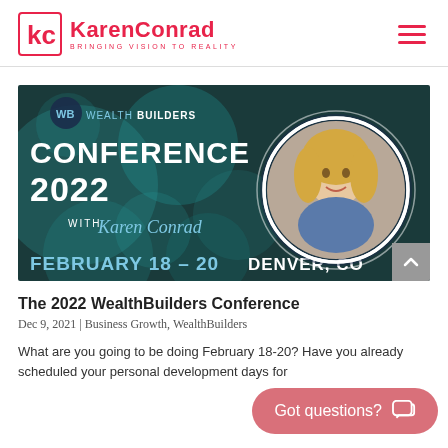KarenConrad — BRINGING VISION TO REALITY
[Figure (illustration): WealthBuilders Conference 2022 banner with Karen Conrad. Teal/dark background with text: WB WEALTHBUILDERS CONFERENCE 2022 WITH Karen Conrad FEBRUARY 18-20 DENVER, CO. Circular portrait of a blonde woman on the right.]
The 2022 WealthBuilders Conference
Dec 9, 2021 | Business Growth, WealthBuilders
What are you going to be doing February 18-20? Have you already scheduled your personal development days for